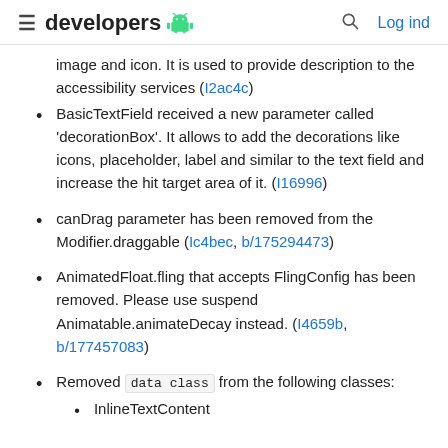≡ developers 🤖  🔍 Log ind
image and icon. It is used to provide description to the accessibility services (I2ac4c)
BasicTextField received a new parameter called 'decorationBox'. It allows to add the decorations like icons, placeholder, label and similar to the text field and increase the hit target area of it. (I16996)
canDrag parameter has been removed from the Modifier.draggable (Ic4bec, b/175294473)
AnimatedFloat.fling that accepts FlingConfig has been removed. Please use suspend Animatable.animateDecay instead. (I4659b, b/177457083)
Removed data class from the following classes:
InlineTextContent